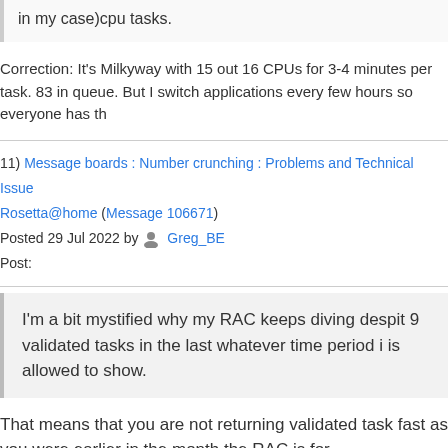in my case)cpu tasks.
Correction: It's Milkyway with 15 out 16 CPUs for 3-4 minutes per task. 83 in queue. But I switch applications every few hours so everyone has th
11) Message boards : Number crunching : Problems and Technical Issues : Rosetta@home (Message 106671)
Posted 29 Jul 2022 by Greg_BE
Post:
I'm a bit mystified why my RAC keeps diving despit 9 validated tasks in the last whatever time period i is allowed to show.
That means that you are not returning validated task fast as you were earlier in the month the RAC is for.